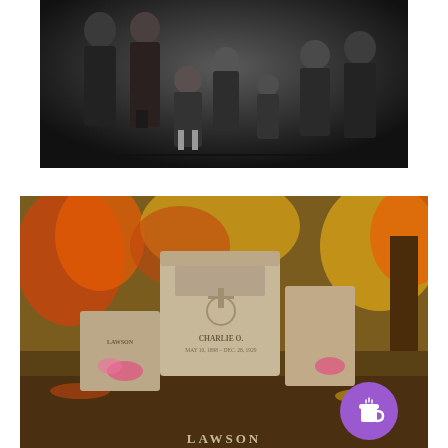[Figure (photo): Black and white vintage family portrait photograph showing several adults and children posed together, circa early 20th century.]
[Figure (photo): Color photograph of a cemetery with gravestones including one reading 'CHARLIE O. MAY 10, 1898 - DEC. 28, 1929' and another partially visible reading 'LAWSON', surrounded by autumn foliage. A white speech bubble overlay reads 'Like our podcast? You can now buy me a coffee!' with a purple 'Buy Me a Coffee' button in the bottom right.]
Like our podcast? You can now buy me a coffee!